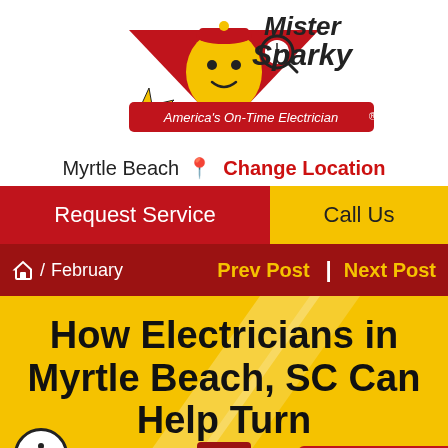[Figure (logo): Mister Sparky logo — animated lightbulb character with red cap holding magnifying glass, lightning bolt, text 'Mister Sparky' and 'America's On-Time Electrician']
Myrtle Beach  Change Location
Request Service    Call Us
Home / February    Prev Post  Next Post
How Electricians in Myrtle Beach, SC Can Help Turn Your Home into a Smart Home